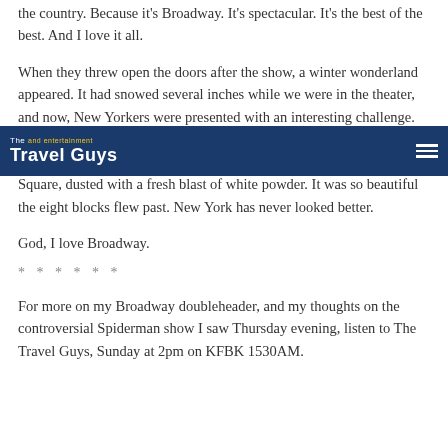the country. Because it's Broadway. It's spectacular. It's the best of the best. And I love it all.
When they threw open the doors after the show, a winter wonderland appeared. It had snowed several inches while we were in the theater, and now, New Yorkers were presented with an interesting challenge. No taxicabs were in sight. The look of panic on many faces was unmistakable. I made my way back home on foot, through Times Square, dusted with a fresh blast of white powder. It was so beautiful the eight blocks flew past. New York has never looked better.
God, I love Broadway.
* * * * * *
For more on my Broadway doubleheader, and my thoughts on the controversial Spiderman show I saw Thursday evening, listen to The Travel Guys, Sunday at 2pm on KFBK 1530AM.